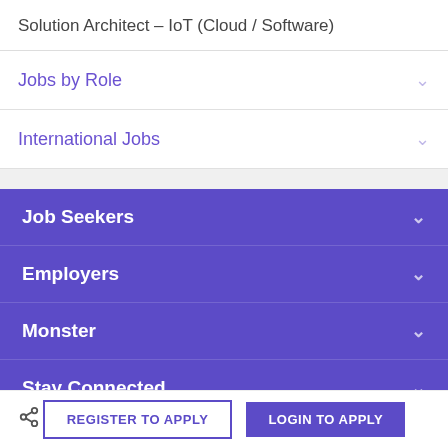Solution Architect – IoT (Cloud / Software)
Jobs by Role
International Jobs
Job Seekers
Employers
Monster
Stay Connected
Legal
REGISTER TO APPLY
LOGIN TO APPLY